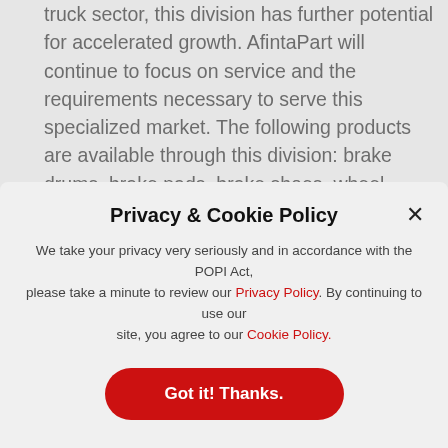truck sector, this division has further potential for accelerated growth. AfintaPart will continue to focus on service and the requirements necessary to serve this specialized market. The following products are available through this division: brake drums, brake pads, brake shoes, wheel brake cylinders and kits, brake calipers, brake fluid, brake springs, exhaust brakes, hand brake and cables, brake pedals and rubbers, master cylinders, master cylinders kits and brake boosters.
Privacy & Cookie Policy
We take your privacy very seriously and in accordance with the POPI Act, please take a minute to review our Privacy Policy. By continuing to use our site, you agree to our Cookie Policy.
Got it! Thanks.